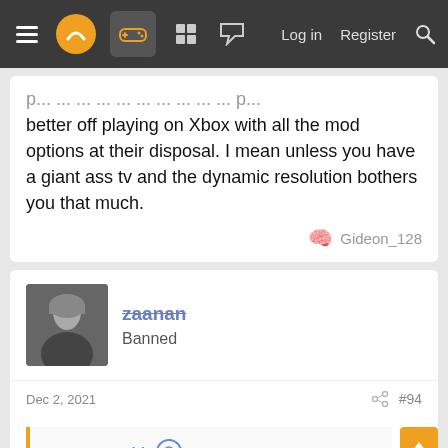Navigation bar with menu, logo, controller icon, grid icon, chat icon, Log in, Register, Search
better off playing on Xbox with all the mod options at their disposal. I mean unless you have a giant ass tv and the dynamic resolution bothers you that much.
Gideon_128
zaanan
Banned
Dec 2, 2021
#94
Darsxx82 said:
The improvement in PS5 is only effect of the use of SSD. The same gain as if you use SSD in PS4Pro. That is, the BC on PS5 does not improve loading times.